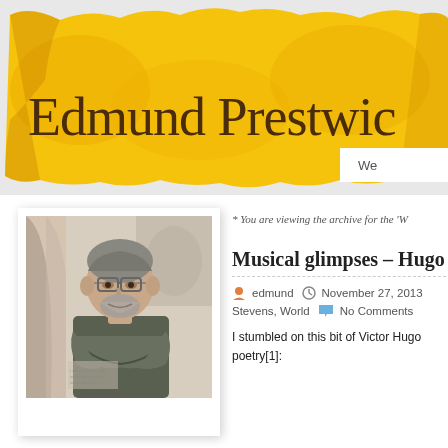[Figure (illustration): Blog header banner with orange/yellow watercolor-style torn paper background and the title 'Edmund Prestwic' visible (partially cropped)]
[Figure (photo): Polaroid-style photo of a middle-aged man with glasses, grey beard, arms crossed, wearing a dark t-shirt, standing in front of what appears to be a classical art or architectural backdrop]
* You are viewing the archive for the 'W
Musical glimpses – Hugo
edmund   November 27, 2013
Stevens, World   No Comments
I stumbled on this bit of Victor Hugo poetry[1]: